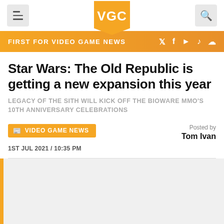VGC — Video Games Chronicle navigation bar with hamburger menu, VGC logo, and search icon
FIRST FOR VIDEO GAME NEWS
Star Wars: The Old Republic is getting a new expansion this year
LEGACY OF THE SITH WILL KICK OFF THE BIOWARE MMO'S 10TH ANNIVERSARY CELEBRATIONS
VIDEO GAME NEWS
Posted by Tom Ivan
1ST JUL 2021 / 10:35 PM
[Figure (photo): Article image placeholder with orange left border bar and grey background]